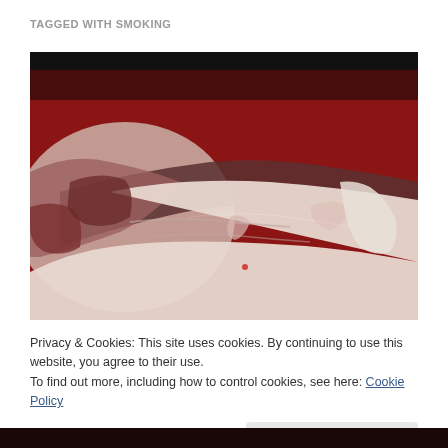TAGGED WITH SMOKING
[Figure (photo): Raw pork ribs laid out on a red cutting board, showing the membrane side (white/pink fatty tissue) with a dark strip of bone running diagonally across the rack.]
Privacy & Cookies: This site uses cookies. By continuing to use this website, you agree to their use.
To find out more, including how to control cookies, see here: Cookie Policy
Close and accept